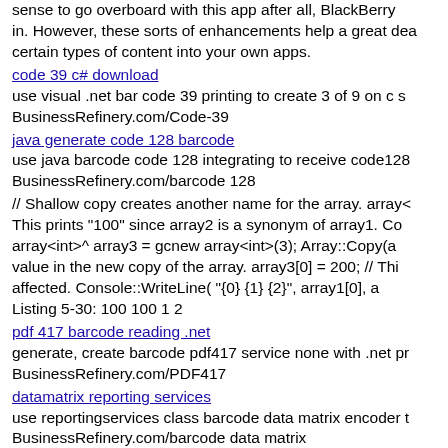sense to go overboard with this app after all, BlackBerry in. However, these sorts of enhancements help a great dea certain types of content into your own apps.
code 39 c# download
use visual .net bar code 39 printing to create 3 of 9 on c s BusinessRefinery.com/Code-39
java generate code 128 barcode
use java barcode code 128 integrating to receive code128 BusinessRefinery.com/barcode 128
// Shallow copy creates another name for the array. array< This prints "100" since array2 is a synonym of array1. Co array<int>^ array3 = gcnew array<int>(3); Array::Copy(a value in the new copy of the array. array3[0] = 200; // Thi affected. Console::WriteLine( "{0} {1} {2}", array1[0], a Listing 5-30: 100 100 1 2
pdf 417 barcode reading .net
generate, create barcode pdf417 service none with .net pr BusinessRefinery.com/PDF417
datamatrix reporting services
use reportingservices class barcode data matrix encoder t BusinessRefinery.com/barcode data matrix
CHAPTER 5: Cryptography
barcode 39 crystal reports vb.net
use .net vs 2010 crystal report barcode 3 of 9 drawer to a BusinessRefinery.com/Code 3/9